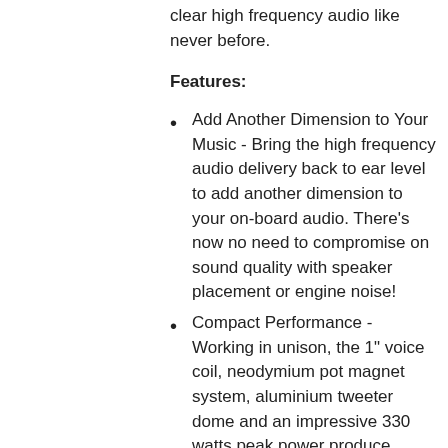clear high frequency audio like never before.
Features:
Add Another Dimension to Your Music - Bring the high frequency audio delivery back to ear level to add another dimension to your on-board audio. There's now no need to compromise on sound quality with speaker placement or engine noise!
Compact Performance - Working in unison, the 1" voice coil, neodymium pot magnet system, aluminium tweeter dome and an impressive 330 watts peak power produce quality high frequency detail, all from a compact form factor.
The Perfect Complement - Designed and optimized to perfectly complement your Signature Series speakers, these tweeters will enhance the audio